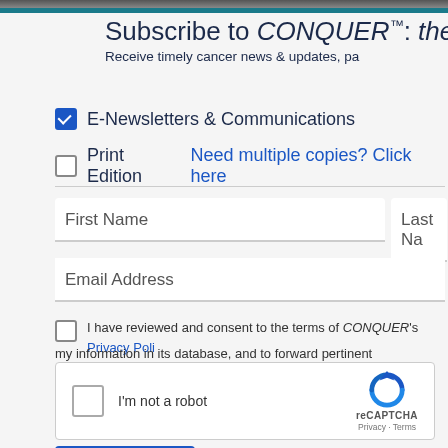Subscribe to CONQUER™: the
Receive timely cancer news & updates, pa
E-Newsletters & Communications (checked)
Print Edition — Need multiple copies? Click here
First Name
Last Na
Email Address
I have reviewed and consent to the terms of CONQUER's Privacy Poli
my information in its database, and to forward pertinent communications t
[Figure (other): reCAPTCHA widget with checkbox labeled 'I'm not a robot' and reCAPTCHA logo with Privacy and Terms links]
Submit button (blue)